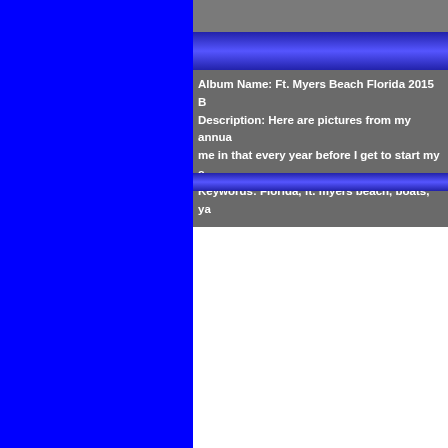[Figure (photo): Solid blue rectangle panel on the left side of the page]
Album Name: Ft. Myers Beach Florida 2015 B
Description: Here are pictures from my annua me in that every year before I get to start my c
Keywords: Florida, ft. myers beach, boats, ya